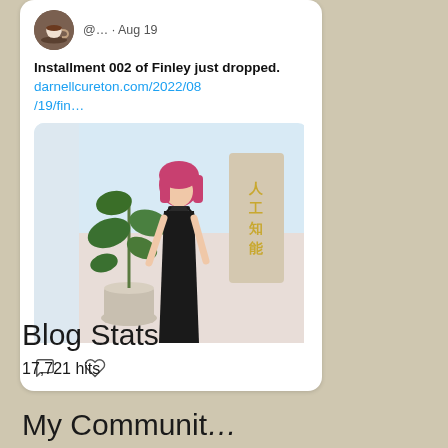[Figure (screenshot): A Twitter/social media card showing a tweet from an account (@... · Aug 19) saying 'Installment 002 of Finley just dropped.' with a link to darnellcureton.com/2022/08/19/fin… and an embedded image of a 3D character with pink hair in a black dress standing next to a plant in a rendered room. Below the tweet text are comment and like icons.]
Blog Stats
17,721 hits
My Communit...